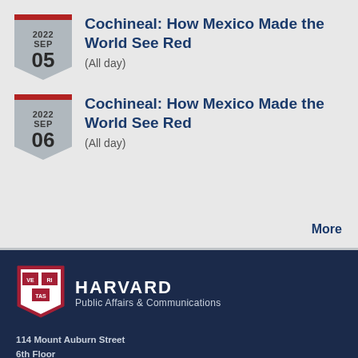2022 SEP 05 — Cochineal: How Mexico Made the World See Red (All day)
2022 SEP 06 — Cochineal: How Mexico Made the World See Red (All day)
More
[Figure (logo): Harvard University shield logo in red and white]
HARVARD
Public Affairs & Communications
114 Mount Auburn Street
6th Floor
Cambridge, MA 02138